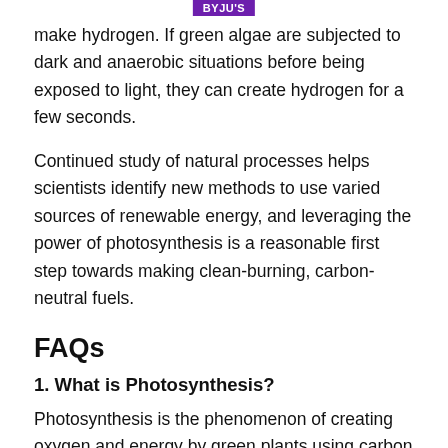[Figure (logo): BYJU'S logo watermark at top center]
make hydrogen. If green algae are subjected to dark and anaerobic situations before being exposed to light, they can create hydrogen for a few seconds.
Continued study of natural processes helps scientists identify new methods to use varied sources of renewable energy, and leveraging the power of photosynthesis is a reasonable first step towards making clean-burning, carbon-neutral fuels.
FAQs
1. What is Photosynthesis?
Photosynthesis is the phenomenon of creating oxygen and energy by green plants using carbon dioxide, sunlight, and water. It involves converting light energy into chemical reactions. The phenomenon of photosynthesis is largely responsible for maintaining the oxygen level in the